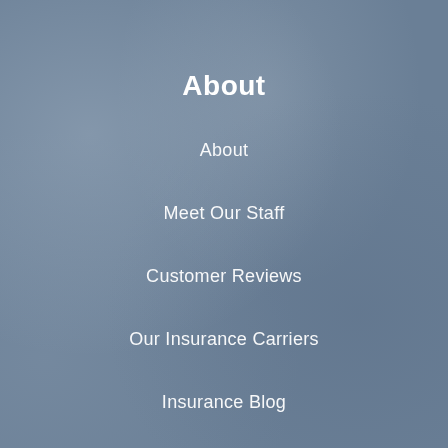About
About
Meet Our Staff
Customer Reviews
Our Insurance Carriers
Insurance Blog